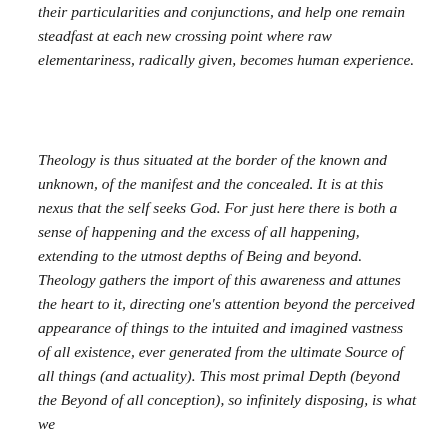their particularities and conjunctions, and help one remain steadfast at each new crossing point where raw elementariness, radically given, becomes human experience.
Theology is thus situated at the border of the known and unknown, of the manifest and the concealed. It is at this nexus that the self seeks God. For just here there is both a sense of happening and the excess of all happening, extending to the utmost depths of Being and beyond. Theology gathers the import of this awareness and attunes the heart to it, directing one's attention beyond the perceived appearance of things to the intuited and imagined vastness of all existence, ever generated from the ultimate Source of all things (and actuality). This most primal Depth (beyond the Beyond of all conception), so infinitely disposing, is what we